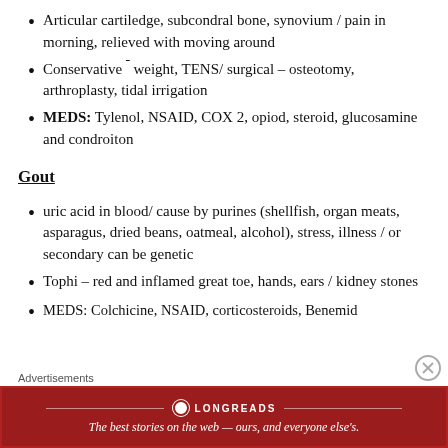Articular cartiledge, subcondral bone, synovium / pain in morning, relieved with moving around
Conservative ¯ weight, TENS/ surgical – osteotomy, arthroplasty, tidal irrigation
MEDS:  Tylenol, NSAID, COX 2, opiod, steroid, glucosamine and condroiton
Gout
uric acid  in blood/ cause by purines (shellfish, organ meats, asparagus, dried beans, oatmeal, alcohol), stress, illness /  or secondary can be genetic
Tophi – red and inflamed great toe, hands, ears / kidney stones
MEDS: Colchicine, NSAID, corticosteroids, Benemid
Advertisements
[Figure (infographic): Longreads advertisement banner: red background with Longreads logo and tagline 'The best stories on the web — ours, and everyone else's.']